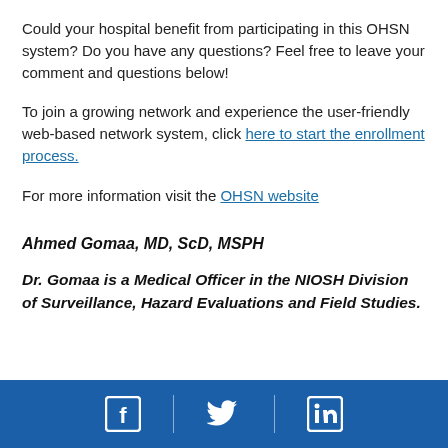Could your hospital benefit from participating in this OHSN system? Do you have any questions? Feel free to leave your comment and questions below!
To join a growing network and experience the user-friendly web-based network system, click here to start the enrollment process.
For more information visit the OHSN website
Ahmed Gomaa, MD, ScD, MSPH
Dr. Gomaa is a Medical Officer in the NIOSH Division of Surveillance, Hazard Evaluations and Field Studies.
[Figure (infographic): Blue footer bar with Facebook, Twitter, and LinkedIn social media icons separated by vertical dividers]